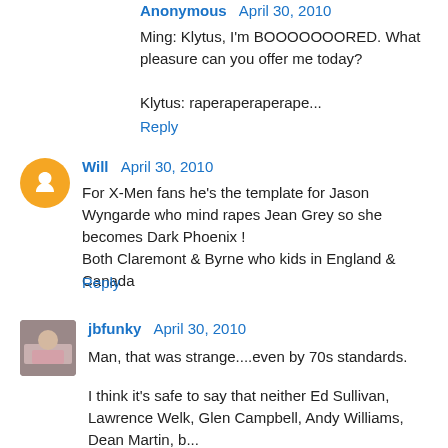Anonymous April 30, 2010
Ming: Klytus, I'm BOOOOOOORED. What pleasure can you offer me today?
Klytus: raperaperaperape...
Reply
Will April 30, 2010
For X-Men fans he's the template for Jason Wyngarde who mind rapes Jean Grey so she becomes Dark Phoenix !
Both Claremont & Byrne who kids in England & Canada
Reply
jbfunky April 30, 2010
Man, that was strange....even by 70s standards.
I think it's safe to say that neither Ed Sullivan, Lawrence Welk, Glen Campbell, Andy Williams, Dean Martin, b...